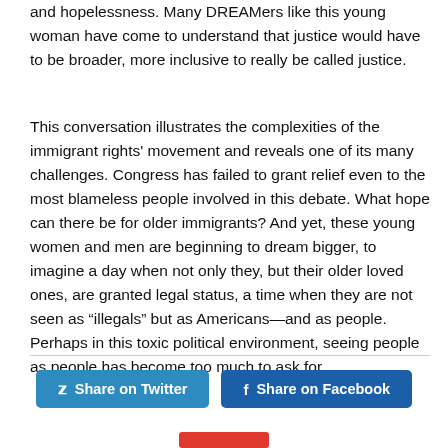and hopelessness. Many DREAMers like this young woman have come to understand that justice would have to be broader, more inclusive to really be called justice.
This conversation illustrates the complexities of the immigrant rights' movement and reveals one of its many challenges. Congress has failed to grant relief even to the most blameless people involved in this debate. What hope can there be for older immigrants? And yet, these young women and men are beginning to dream bigger, to imagine a day when not only they, but their older loved ones, are granted legal status, a time when they are not seen as “illegals” but as Americans—and as people. Perhaps in this toxic political environment, seeing people as people has become too much to ask for.